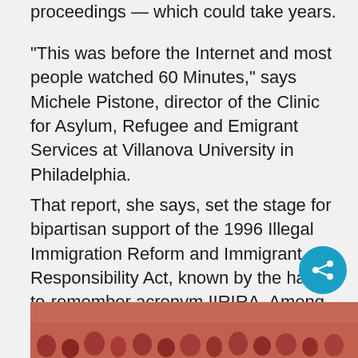proceedings — which could take years.
“This was before the Internet and most people watched 60 Minutes,” says Michele Pistone, director of the Clinic for Asylum, Refugee and Emigrant Services at Villanova University in Philadelphia.
That report, she says, set the stage for bipartisan support of the 1996 Illegal Immigration Reform and Immigrant Responsibility Act, known by the hard-to-remember acronym IIRIRA. Among other changes, the law made it standard practice to detain asylum seekers while their cases are processed.
[Figure (photo): Partial view of a crowd of people, appears to be a rally or large gathering, showing many faces and raised hands, warm reddish tones.]